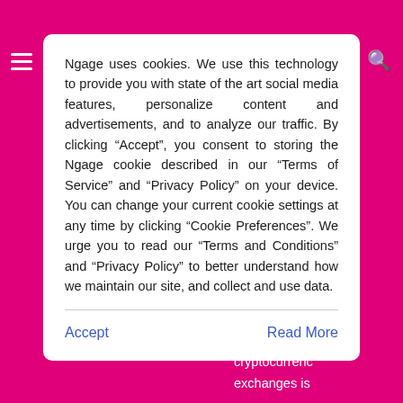Ngage uses cookies. We use this technology to provide you with state of the art social media features, personalize content and advertisements, and to analyze our traffic. By clicking “Accept”, you consent to storing the Ngage cookie described in our “Terms of Service” and “Privacy Policy” on your device. You can change your current cookie settings at any time by clicking “Cookie Preferences”. We urge you to read our “Terms and Conditions” and “Privacy Policy” to better understand how we maintain our site, and collect and use data.
Accept
Read More
most well-known peer-to-peer cryptocurrency exchanges is